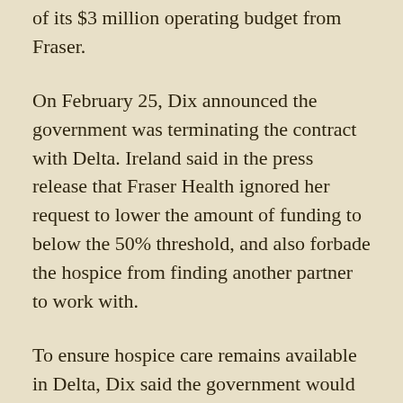of its $3 million operating budget from Fraser.
On February 25, Dix announced the government was terminating the contract with Delta. Ireland said in the press release that Fraser Health ignored her request to lower the amount of funding to below the 50% threshold, and also forbade the hospice from finding another partner to work with.
To ensure hospice care remains available in Delta, Dix said the government would take over management of the current building or open another 10-bed hospice somewhere else in the area.
The hospice was built at a cost of about $9 million, paid for without government funding, Ireland said. Hospice supporters are planning a rally at the B.C. Legislature Saturday, April 4, according to the B.C. Catholic. Ireland said the Delta Hospice Society is considering legal and